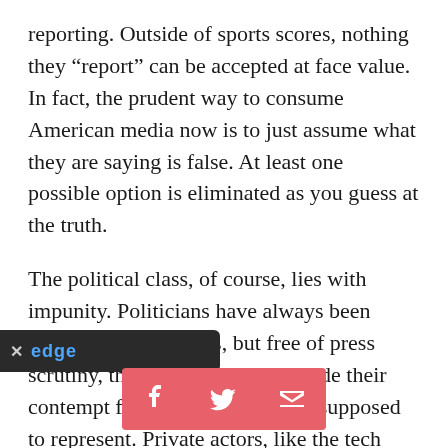reporting. Outside of sports scores, nothing they “report” can be accepted at face value. In fact, the prudent way to consume American media now is to just assume what they are saying is false. At least one possible option is eliminated as you guess at the truth.
The political class, of course, lies with impunity. Politicians have always been creative with the facts, but free of press scrutiny, they don’t even try to hide their contempt for the people they are supposed to represent. Private actors, like the tech oligarchs, come before Congress and lie through their teeth. They know the